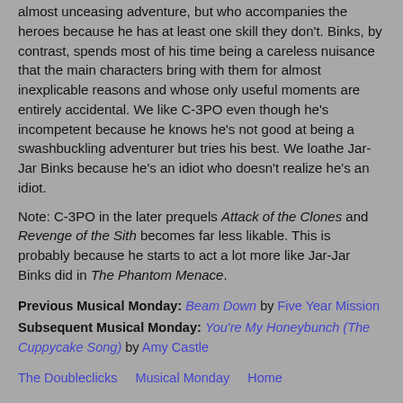almost unceasing adventure, but who accompanies the heroes because he has at least one skill they don't. Binks, by contrast, spends most of his time being a careless nuisance that the main characters bring with them for almost inexplicable reasons and whose only useful moments are entirely accidental. We like C-3PO even though he's incompetent because he knows he's not good at being a swashbuckling adventurer but tries his best. We loathe Jar-Jar Binks because he's an idiot who doesn't realize he's an idiot.
Note: C-3PO in the later prequels Attack of the Clones and Revenge of the Sith becomes far less likable. This is probably because he starts to act a lot more like Jar-Jar Binks did in The Phantom Menace.
Previous Musical Monday: Beam Down by Five Year Mission
Subsequent Musical Monday: You're My Honeybunch (The Cuppycake Song) by Amy Castle
The Doubleclicks   Musical Monday   Home